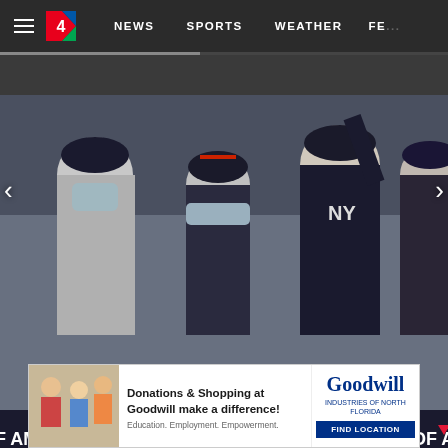NEWS   SPORTS   WEATHER   FE...
[Figure (photo): New York Yankees players and coaches in the dugout at Yankee Stadium, wearing masks and Yankees uniforms. Several players are clapping. A Bank of America advertising banner is visible on the dugout railing.]
Copyright 2021 The Associated Press. All rights reserved.
New York Yankees outfielder Jay Bruce, third from left, waves from the dugout as injured first baseman Luke Vo
[Figure (infographic): Goodwill advertisement banner: Donations & Shopping at Goodwill make a difference! Education. Employment. Empowerment. FIND LOCATION]